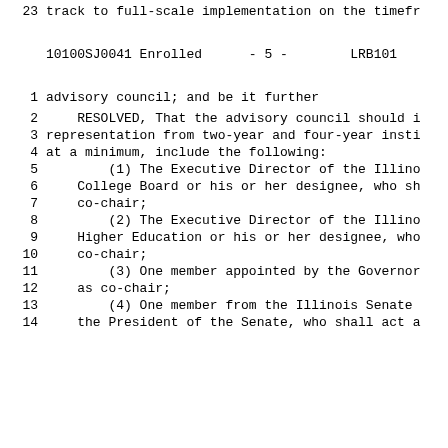23    track to full-scale implementation on the timefr
10100SJ0041 Enrolled      - 5 -        LRB101
1    advisory council; and be it further
2        RESOLVED, That the advisory council should i
3    representation from two-year and four-year insti
4    at a minimum, include the following:
5            (1) The Executive Director of the Illino
6        College Board or his or her designee, who sh
7        co-chair;
8            (2) The Executive Director of the Illino
9        Higher Education or his or her designee, who
10       co-chair;
11           (3) One member appointed by the Governor
12       as co-chair;
13           (4) One member from the Illinois Senate
14       the President of the Senate, who shall act a